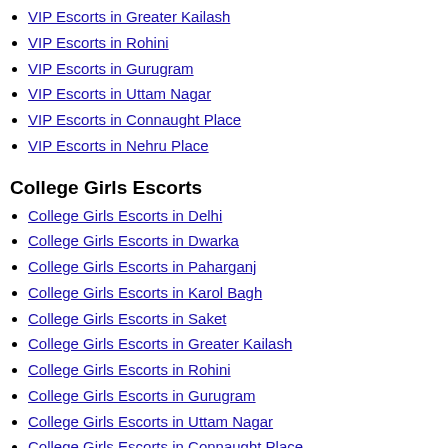VIP Escorts in Greater Kailash
VIP Escorts in Rohini
VIP Escorts in Gurugram
VIP Escorts in Uttam Nagar
VIP Escorts in Connaught Place
VIP Escorts in Nehru Place
College Girls Escorts
College Girls Escorts in Delhi
College Girls Escorts in Dwarka
College Girls Escorts in Paharganj
College Girls Escorts in Karol Bagh
College Girls Escorts in Saket
College Girls Escorts in Greater Kailash
College Girls Escorts in Rohini
College Girls Escorts in Gurugram
College Girls Escorts in Uttam Nagar
College Girls Escorts in Connaught Place
College Girls Escorts in Nehru Place
Model Escorts Service
Model Escort in Delhi